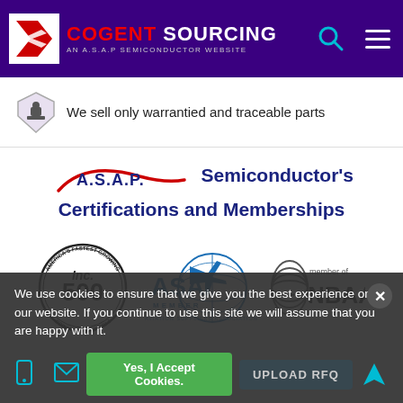[Figure (logo): Cogent Sourcing - An A.S.A.P Semiconductor Website logo with purple navigation bar, search icon, and menu icon]
We sell only warrantied and traceable parts
A.S.A.P. Semiconductor's Certifications and Memberships
[Figure (logo): Inc. 500 America's Fastest-Growing Private Companies badge]
[Figure (logo): ASA Member - Aviation Suppliers Association logo]
[Figure (logo): Member of NBAA logo]
We use cookies to ensure that we give you the best experience on our website. If you continue to use this site we will assume that you are happy with it.